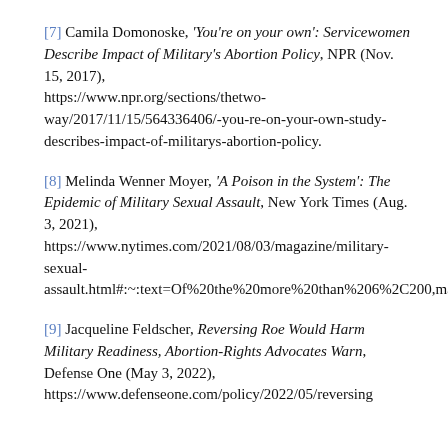[7] Camila Domonoske, 'You're on your own': Servicewomen Describe Impact of Military's Abortion Policy, NPR (Nov. 15, 2017), https://www.npr.org/sections/thetwo-way/2017/11/15/564336406/-you-re-on-your-own-study-describes-impact-of-militarys-abortion-policy.
[8] Melinda Wenner Moyer, 'A Poison in the System': The Epidemic of Military Sexual Assault, New York Times (Aug. 3, 2021), https://www.nytimes.com/2021/08/03/magazine/military-sexual-assault.html#:~:text=Of%20the%20more%20than%206%2C200,many%20convictions%20as%20in%202019.
[9] Jacqueline Feldscher, Reversing Roe Would Harm Military Readiness, Abortion-Rights Advocates Warn, Defense One (May 3, 2022), https://www.defenseone.com/policy/2022/05/reversing